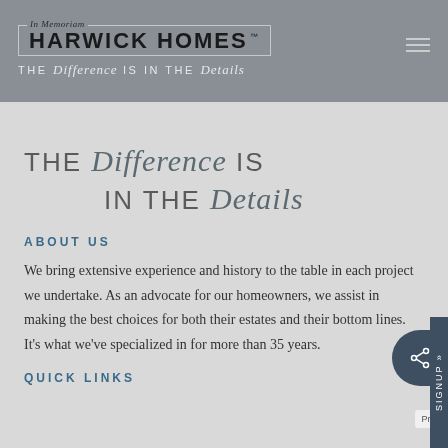In Memoriam HARWICK HOMES™ THE Difference IS IN THE Details
THE Difference IS IN THE Details
ABOUT US
We bring extensive experience and history to the table in each project we undertake. As an advocate for our homeowners, we assist in making the best choices for both their estates and their bottom lines. It's what we've specialized in for more than 35 years.
QUICK LINKS